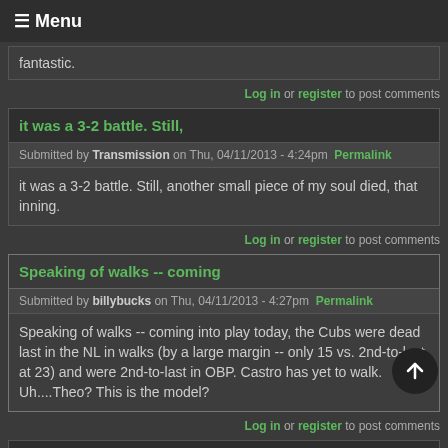≡ Menu
fantastic.
Log in or register to post comments
it was a 3-2 battle.  Still,
Submitted by Transmission on Thu, 04/11/2013 - 4:24pm  Permalink
it was a 3-2 battle.  Still, another small piece of my soul died, that inning.
Log in or register to post comments
Speaking of walks -- coming
Submitted by billybucks  on Thu, 04/11/2013 - 4:27pm  Permalink
Speaking of walks -- coming into play today, the Cubs were dead last in the NL in walks (by a large margin -- only 15 vs. 2nd-to-last at 23) and were 2nd-to-last in OBP. Castro has yet to walk. Uh....Theo? This is the model?
Log in or register to post comments
So tired of free swingers.